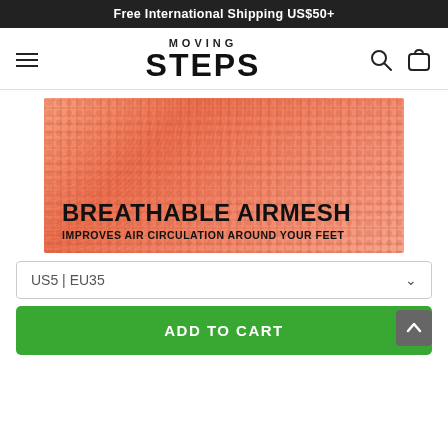Free International Shipping US$50+
[Figure (logo): Moving Steps logo with hamburger menu, search and cart icons]
[Figure (photo): Close-up of breathable airmesh fabric in orange/salmon color with overlay text: BREATHABLE AIRMESH - IMPROVES AIR CIRCULATION AROUND YOUR FEET]
US5 | EU35
ADD TO CART